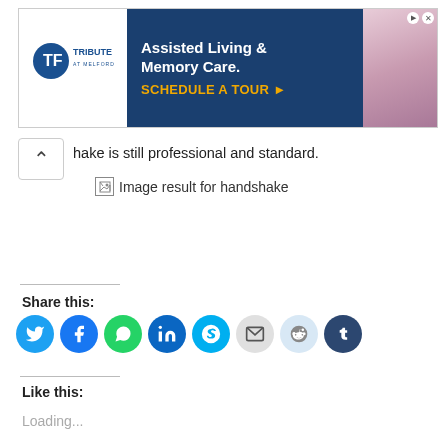[Figure (other): Advertisement banner for Tribute at Melford assisted living and memory care with 'Schedule a Tour' call to action]
hake is still professional and standard.
[Figure (other): Broken image placeholder with alt text: Image result for handshake]
Share this:
[Figure (other): Social sharing buttons: Twitter, Facebook, WhatsApp, LinkedIn, Skype, Email, Reddit, Tumblr]
Like this:
Loading...